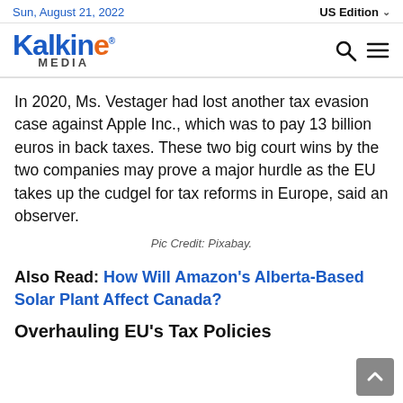Sun, August 21, 2022 | US Edition
[Figure (logo): Kalkine Media logo with search and menu icons]
In 2020, Ms. Vestager had lost another tax evasion case against Apple Inc., which was to pay 13 billion euros in back taxes. These two big court wins by the two companies may prove a major hurdle as the EU takes up the cudgel for tax reforms in Europe, said an observer.
Pic Credit: Pixabay.
Also Read: How Will Amazon's Alberta-Based Solar Plant Affect Canada?
Overhauling EU's Tax Policies